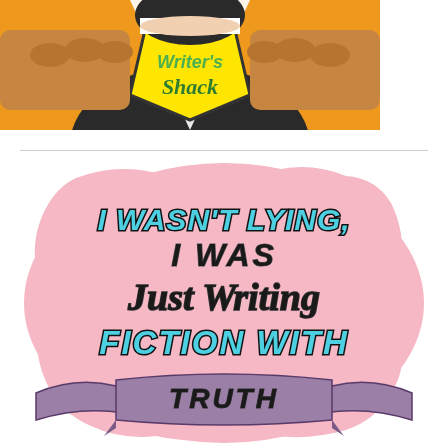[Figure (logo): Writer's Shack logo - comic book style illustration of a person in black and white holding open a shirt/jacket to reveal a yellow badge/shield with the text 'Writer's Shack' on an orange background]
[Figure (illustration): Pink rounded sticker/badge illustration with humorous writer text: 'I WASN'T LYING, I WAS Just Writing FICTION WITH' and partial text 'TRUTH' visible at the bottom in a ribboned banner. Text colors alternate between cyan/teal and black, on a pink background.]